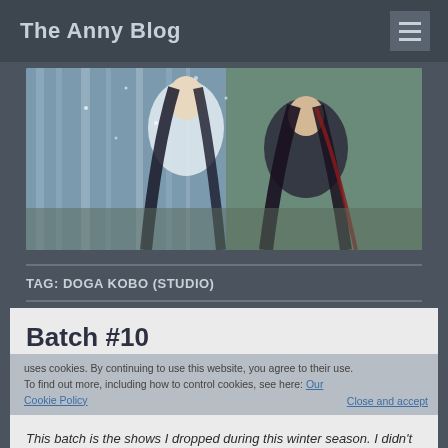The Anny Blog
[Figure (illustration): Anime-style illustration banner showing two characters with long black hair against a blue-grey background with trees]
TAG: DOGA KOBO (STUDIO)
Batch #10
This batch is the shows I dropped during this winter season. I didn't pick up all this time, but I think I gave the majority available in Sweden on Wakanim and Crunchyroll (combined) a try.